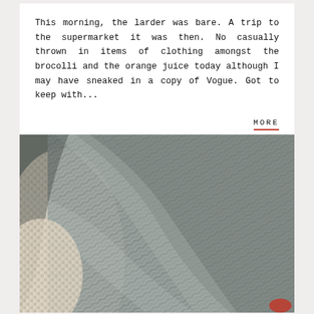This morning, the larder was bare. A trip to the supermarket it was then. No casually thrown in items of clothing amongst the brocolli and the orange juice today although I may have sneaked in a copy of Vogue. Got to keep with...
MORE
[Figure (photo): Close-up photo of a folded grey herringbone patterned fabric next to a cream/beige woven textile, with a small red element visible in the bottom right corner.]